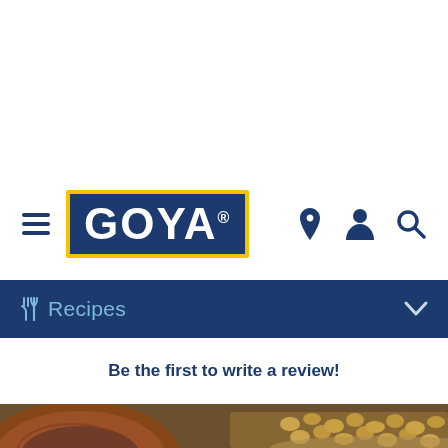[Figure (logo): Goya Foods logo - white GOYA text on dark blue background with yellow border]
Recipes
Be the first to write a review!
[Figure (photo): Food photo showing hominy corn kernels on a wooden plate with a wooden bowl in background]